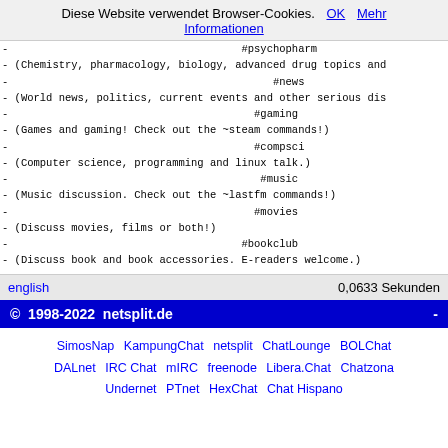Diese Website verwendet Browser-Cookies. OK Mehr Informationen
- #psychopharm
- (Chemistry, pharmacology, biology, advanced drug topics and...
- #news
- (World news, politics, current events and other serious dis...
- #gaming
- (Games and gaming! Check out the ~steam commands!)
- #compsci
- (Computer science, programming and linux talk.)
- #music
- (Music discussion. Check out the ~lastfm commands!)
- #movies
- (Discuss movies, films or both!)
- #bookclub
- (Discuss book and book accessories. E-readers welcome.)
english   0,0633 Sekunden
© 1998-2022 netsplit.de  -
SimosNap KampungChat netsplit ChatLounge BOLChat DALnet IRC Chat mIRC freenode Libera.Chat Chatzona Undernet PTnet HexChat Chat Hispano